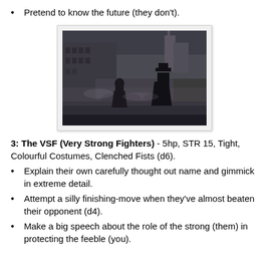Pretend to know the future (they don't).
[Figure (screenshot): Dark atmospheric scene from what appears to be a Victorian-era video game (Assassin's Creed Syndicate), showing a cloaked figure on a misty cobblestone street with grand buildings and a church spire in the background.]
3: The VSF (Very Strong Fighters) - 5hp, STR 15, Tight, Colourful Costumes, Clenched Fists (d6).
Explain their own carefully thought out name and gimmick in extreme detail.
Attempt a silly finishing-move when they've almost beaten their opponent (d4).
Make a big speech about the role of the strong (them) in protecting the feeble (you).